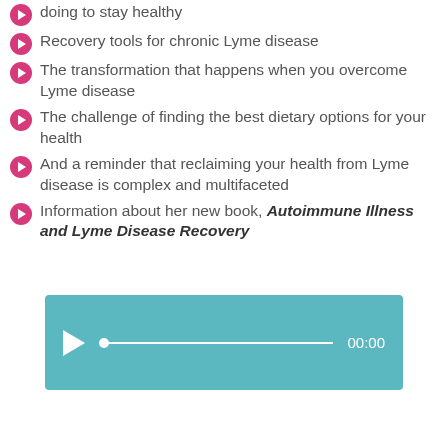doing to stay healthy
Recovery tools for chronic Lyme disease
The transformation that happens when you overcome Lyme disease
The challenge of finding the best dietary options for your health
And a reminder that reclaiming your health from Lyme disease is complex and multifaceted
Information about her new book, Autoimmune Illness and Lyme Disease Recovery
[Figure (other): Audio player widget with play button, progress bar, and time display showing 00:00 on a teal/aqua background]